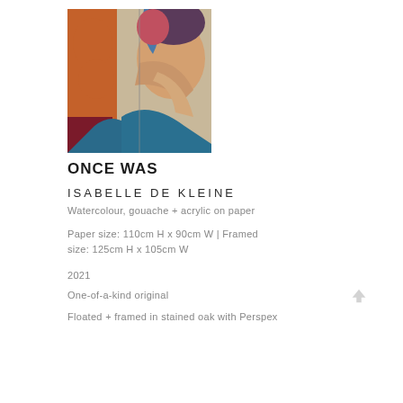[Figure (photo): Artwork painting 'Once Was' by Isabelle De Kleine — abstract figurative work with terracotta, teal, and flesh tones on paper]
ONCE WAS
ISABELLE DE KLEINE
Watercolour, gouache + acrylic on paper
Paper size: 110cm H x 90cm W  |  Framed size: 125cm H x 105cm W
2021
One-of-a-kind original
Floated + framed in stained oak with Perspex